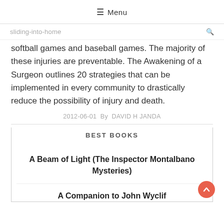☰ Menu
sliding-into-home
softball games and baseball games. The majority of these injuries are preventable. The Awakening of a Surgeon outlines 20 strategies that can be implemented in every community to drastically reduce the possibility of injury and death.
2012-06-01 By DAVID H JANDA
BEST BOOKS
A Beam of Light (The Inspector Montalbano Mysteries)
A Companion to John Wyclif